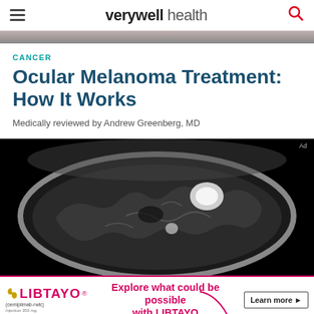verywell health
CANCER
Ocular Melanoma Treatment: How It Works
Medically reviewed by Andrew Greenberg, MD
[Figure (photo): MRI brain scan cross-section showing brain structure in black and white, with a visible tumor/lesion (bright white spot) on one side.]
[Figure (other): LIBTAYO (cemiplimab-rwlc) advertisement banner. Text reads: Explore what could be possible with LIBTAYO. Learn more. © 2021 Regeneron Pharmaceuticals, Inc., and sanofi-aventis U.S. LLC. LIB.21.06.0096 07/21]